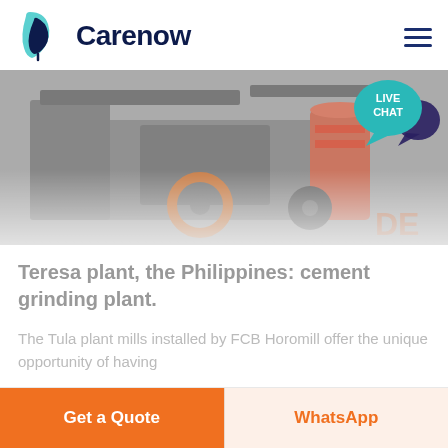Carenow
[Figure (photo): Industrial cement grinding plant machinery, shown in a faded/muted photograph with orange and gray industrial equipment. The word 'DE' is partially visible at the bottom right.]
Teresa plant, the Philippines: cement grinding plant.
The Tula plant mills installed by FCB Horomill offer the unique opportunity of having
Get a Quote
WhatsApp